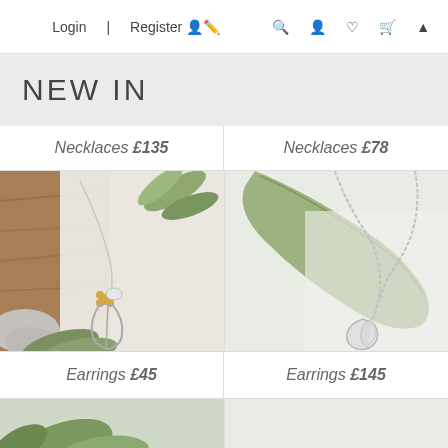Login | Register 🧑‍✏️ 🔍 👤 ♥ 🛍 ▲
NEW IN
Necklaces £135
[Figure (photo): Silver necklace with gold flower and oval pendant on wooden background with eucalyptus leaves]
Necklaces £78
[Figure (photo): Silver chain necklace with leaf/petal pendant on pale green eucalyptus leaf background]
Earrings £45
Earrings £145
[Figure (photo): Partial view of silver earrings with green leaf in bottom left corner]